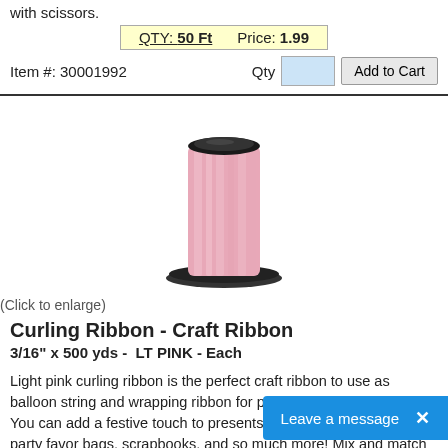with scissors.
QTY: 50 Ft   Price: 1.99
Item #: 30001992
[Figure (photo): A spool of light pink curling ribbon]
(Click to enlarge)
Curling Ribbon - Craft Ribbon
3/16" x 500 yds -  LT PINK - Each
Light pink curling ribbon is the perfect craft ribbon to use as balloon string and wrapping ribbon for parties and holiday decor. You can add a festive touch to presents, wreaths, hair clips/ties, party favor bags, scrapbooks, and so much more! Mix and match with a variety of other colors to create unique themed bows, princess wands, garlands, etc. Simply glide your scissors or any straight edge across the crimped po... or loose curls. This pink balloon ribbon measures 3/16" (5mm)